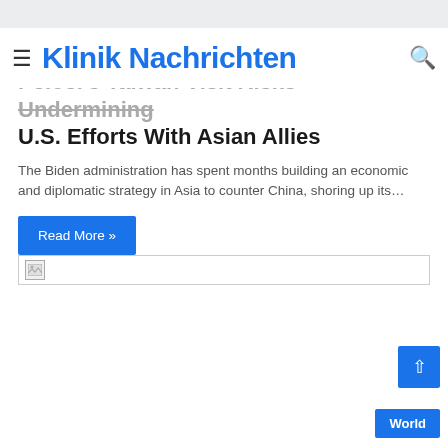Klinik Nachrichten
Pelosi's Taiwan Visit Risks Undermining U.S. Efforts With Asian Allies
The Biden administration has spent months building an economic and diplomatic strategy in Asia to counter China, shoring up its…
Read More »
[Figure (photo): Broken image placeholder with small icon in top-left corner]
World